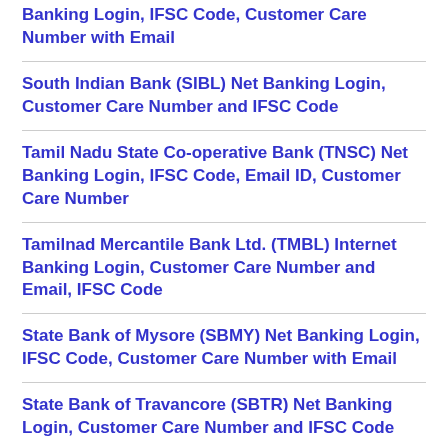Banking Login, IFSC Code, Customer Care Number with Email
South Indian Bank (SIBL) Net Banking Login, Customer Care Number and IFSC Code
Tamil Nadu State Co-operative Bank (TNSC) Net Banking Login, IFSC Code, Email ID, Customer Care Number
Tamilnad Mercantile Bank Ltd. (TMBL) Internet Banking Login, Customer Care Number and Email, IFSC Code
State Bank of Mysore (SBMY) Net Banking Login, IFSC Code, Customer Care Number with Email
State Bank of Travancore (SBTR) Net Banking Login, Customer Care Number and IFSC Code